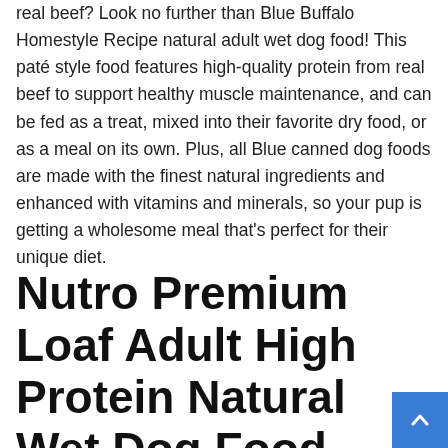real beef? Look no further than Blue Buffalo Homestyle Recipe natural adult wet dog food! This paté style food features high-quality protein from real beef to support healthy muscle maintenance, and can be fed as a treat, mixed into their favorite dry food, or as a meal on its own. Plus, all Blue canned dog foods are made with the finest natural ingredients and enhanced with vitamins and minerals, so your pup is getting a wholesome meal that's perfect for their unique diet.
Nutro Premium Loaf Adult High Protein Natural Wet Dog Food Slow Cooked Chicken, Potato, Carrot &